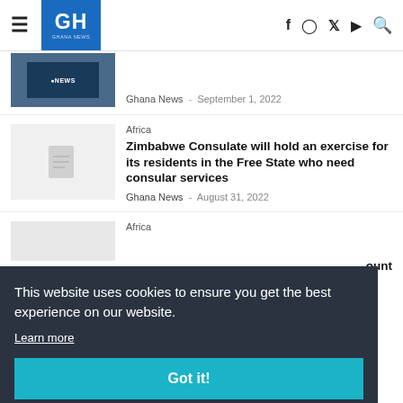GH GHANA NEWS
[Figure (screenshot): News thumbnail image showing soldiers/military personnel with BBC NEWS logo overlay]
Ghana News - September 1, 2022
Africa
Zimbabwe Consulate will hold an exercise for its residents in the Free State who need consular services
Ghana News - August 31, 2022
Africa
This website uses cookies to ensure you get the best experience on our website.
Learn more
Got it!
...ount
...red over erotic pastry shop